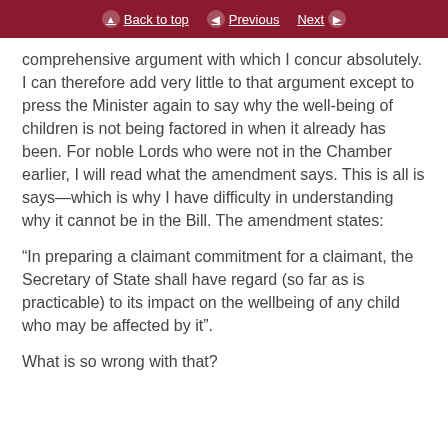Back to top | Previous | Next
comprehensive argument with which I concur absolutely. I can therefore add very little to that argument except to press the Minister again to say why the well-being of children is not being factored in when it already has been. For noble Lords who were not in the Chamber earlier, I will read what the amendment says. This is all is says—which is why I have difficulty in understanding why it cannot be in the Bill. The amendment states:
“In preparing a claimant commitment for a claimant, the Secretary of State shall have regard (so far as is practicable) to its impact on the wellbeing of any child who may be affected by it”.
What is so wrong with that?